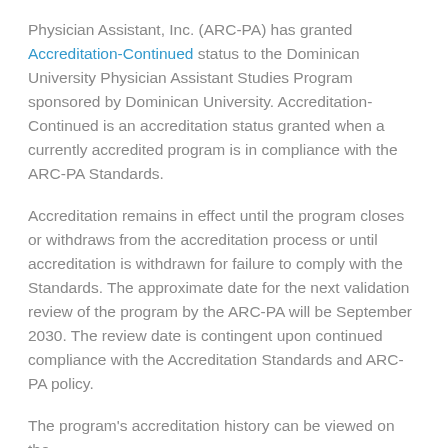Physician Assistant, Inc. (ARC-PA) has granted Accreditation-Continued status to the Dominican University Physician Assistant Studies Program sponsored by Dominican University. Accreditation-Continued is an accreditation status granted when a currently accredited program is in compliance with the ARC-PA Standards.
Accreditation remains in effect until the program closes or withdraws from the accreditation process or until accreditation is withdrawn for failure to comply with the Standards. The approximate date for the next validation review of the program by the ARC-PA will be September 2030. The review date is contingent upon continued compliance with the Accreditation Standards and ARC-PA policy.
The program's accreditation history can be viewed on the ARC-PA website.